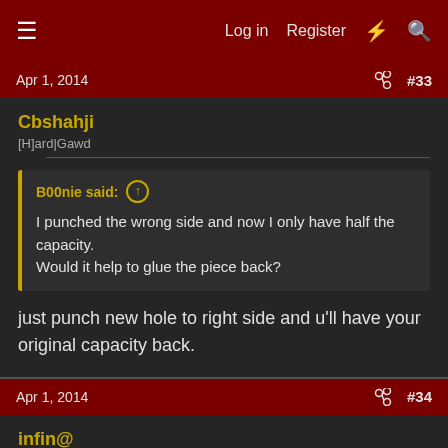Log in  Register  #  🔍
Apr 1, 2014  #33
Cbshahji
[H]ard|Gawd
B00nie said:
I punched the wrong side and now I only have half the capacity. Would it help to glue the piece back?
just punch new hole to right side and u'll have your original capacity back.
Apr 1, 2014  #34
infin@
Gawd